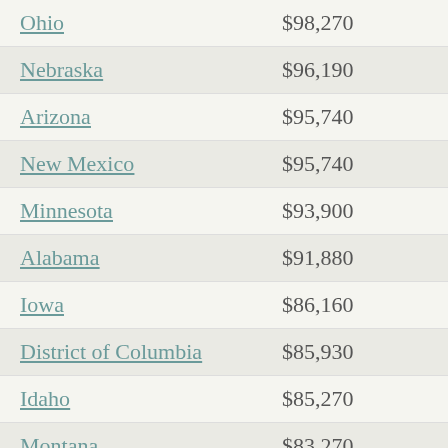| State | Value |
| --- | --- |
| Ohio | $98,270 |
| Nebraska | $96,190 |
| Arizona | $95,740 |
| New Mexico | $95,740 |
| Minnesota | $93,900 |
| Alabama | $91,880 |
| Iowa | $86,160 |
| District of Columbia | $85,930 |
| Idaho | $85,270 |
| Montana | $83,270 |